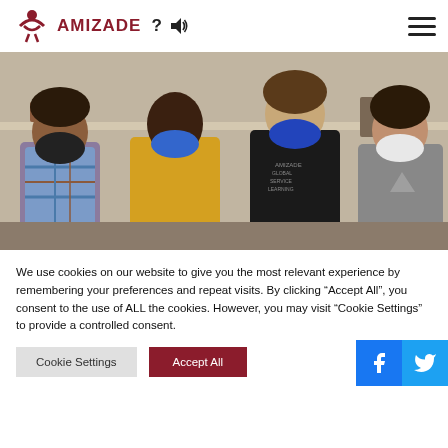AMIZADE
[Figure (photo): Four people standing together wearing face masks indoors. From left: person in plaid shirt with black mask, person in yellow t-shirt with blue mask, person in black Amizade Global Service Learning t-shirt with blue mask, person in grey Reebok shirt with white mask. Behind them is a shelf with decorative items.]
We use cookies on our website to give you the most relevant experience by remembering your preferences and repeat visits. By clicking “Accept All”, you consent to the use of ALL the cookies. However, you may visit “Cookie Settings” to provide a controlled consent.
Cookie Settings
Accept All